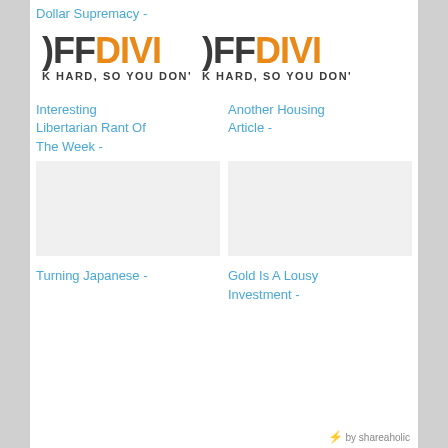Dollar Supremacy -
[Figure (logo): OFFDIVI logo repeated twice - text reads OFFDIVI with gray and orange lettering, subtext K HARD, SO YOU DON'T]
Interesting Libertarian Rant Of The Week -
Another Housing Article -
Turning Japanese -
Gold Is A Lousy Investment -
by shareaholic